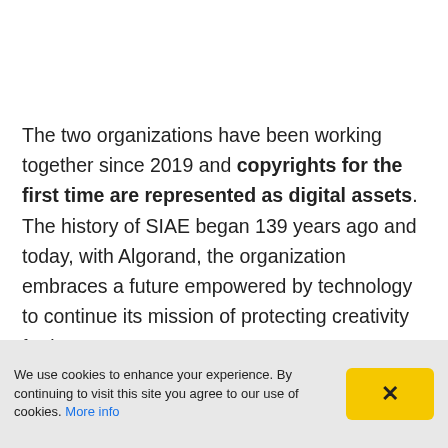The two organizations have been working together since 2019 and copyrights for the first time are represented as digital assets. The history of SIAE began 139 years ago and today, with Algorand, the organization embraces a future empowered by technology to continue its mission of protecting creativity for its users.
We use cookies to enhance your experience. By continuing to visit this site you agree to our use of cookies. More info